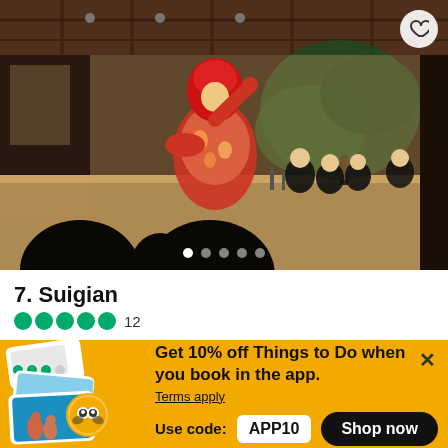[Figure (photo): Japanese Noh/Kabuki theater performance on a wooden stage. A performer in a bright red wig and ornate floral kimono stands center stage with arm raised. Several musicians in black sit to the right. Audience silhouettes visible in foreground. A painted pine tree decorates the backdrop.]
7. Suigian
●●●●● 12
Get 10% off Things to Do when you book in the app.
Terms apply
Use code: APP10
Shop now